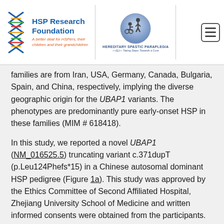[Figure (logo): HSP Research Foundation logo with DNA helix icon and text 'A better deal for HSPers, their children and their grandchildren']
[Figure (logo): Hereditary Spastic Paraplegia circular logo with silhouette of person in wheelchair and standing person, text 'Taking Steps Towards a Cure']
families are from Iran, USA, Germany, Canada, Bulgaria, Spain, and China, respectively, implying the diverse geographic origin for the UBAP1 variants. The phenotypes are predominantly pure early-onset HSP in these families (MIM # 618418).
In this study, we reported a novel UBAP1 (NM_016525.5) truncating variant c.371dupT (p.Leu124Phefs*15) in a Chinese autosomal dominant HSP pedigree (Figure 1a). This study was approved by the Ethics Committee of Second Affiliated Hospital, Zhejiang University School of Medicine and written informed consents were obtained from the participants.